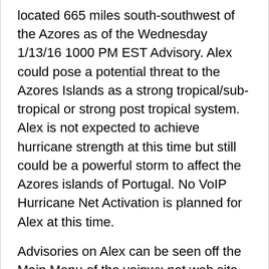located 665 miles south-southwest of the Azores as of the Wednesday 1/13/16 1000 PM EST Advisory. Alex could pose a potential threat to the Azores Islands as a strong tropical/sub-tropical or strong post tropical system. Alex is not expected to achieve hurricane strength at this time but still could be a powerful storm to affect the Azores islands of Portugal. No VoIP Hurricane Net Activation is planned for Alex at this time.
Advisories on Alex can be seen off the Main Menu of the voipwx.net web site, via the voipwxnet social media Facebook and Twitter feeds or via the National Hurricane Center web site which also has the National Hurricane Center Social Media feed information at the following link:
http://www.nhc.noaa.gov
The VoIP Hurricane Net Management Team will